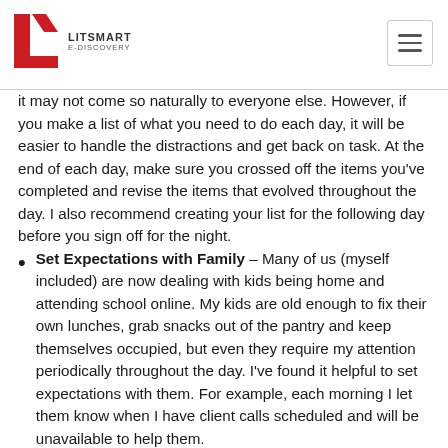LITSMART E-DISCOVERY
it may not come so naturally to everyone else. However, if you make a list of what you need to do each day, it will be easier to handle the distractions and get back on task. At the end of each day, make sure you crossed off the items you've completed and revise the items that evolved throughout the day. I also recommend creating your list for the following day before you sign off for the night.
Set Expectations with Family – Many of us (myself included) are now dealing with kids being home and attending school online. My kids are old enough to fix their own lunches, grab snacks out of the pantry and keep themselves occupied, but even they require my attention periodically throughout the day. I've found it helpful to set expectations with them. For example, each morning I let them know when I have client calls scheduled and will be unavailable to help them.